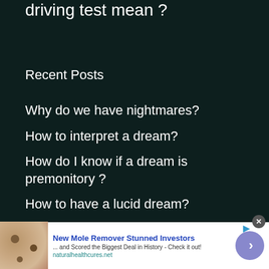driving test mean ?
Recent Posts
Why do we have nightmares?
How to interpret a dream?
How do I know if a dream is premonitory ?
How to have a lucid dream?
[Figure (other): Advertisement banner: New Mole Remover Stunned Investors ... and Scored the Biggest Deal in History - Check it out! naturalhealthcures.net. Shows a skin photo with moles, a blue arrow button, and a close X button.]